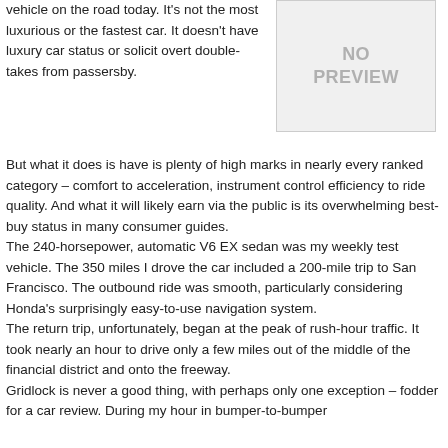vehicle on the road today. It's not the most luxurious or the fastest car. It doesn't have luxury car status or solicit overt double-takes from passersby.
[Figure (other): Gray placeholder box with text 'NO PREVIEW']
But what it does is have is plenty of high marks in nearly every ranked category – comfort to acceleration, instrument control efficiency to ride quality. And what it will likely earn via the public is its overwhelming best-buy status in many consumer guides.
The 240-horsepower, automatic V6 EX sedan was my weekly test vehicle. The 350 miles I drove the car included a 200-mile trip to San Francisco. The outbound ride was smooth, particularly considering Honda's surprisingly easy-to-use navigation system.
The return trip, unfortunately, began at the peak of rush-hour traffic. It took nearly an hour to drive only a few miles out of the middle of the financial district and onto the freeway.
Gridlock is never a good thing, with perhaps only one exception – fodder for a car review. During my hour in bumper-to-bumper